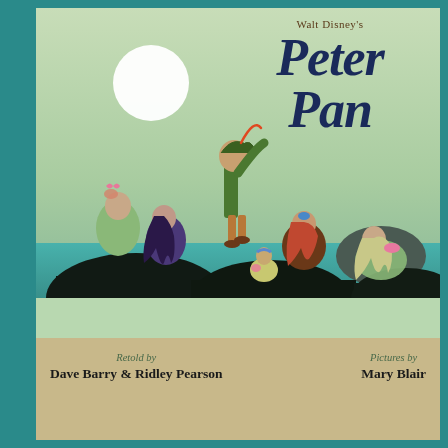[Figure (illustration): Book cover of Walt Disney's Peter Pan, retold by Dave Barry & Ridley Pearson, pictures by Mary Blair. Illustration shows Peter Pan standing on dark rocks surrounded by mermaids, with a large white moon in a pale green sky background and teal water.]
Walt Disney's Peter Pan
Retold by Dave Barry & Ridley Pearson
Pictures by Mary Blair